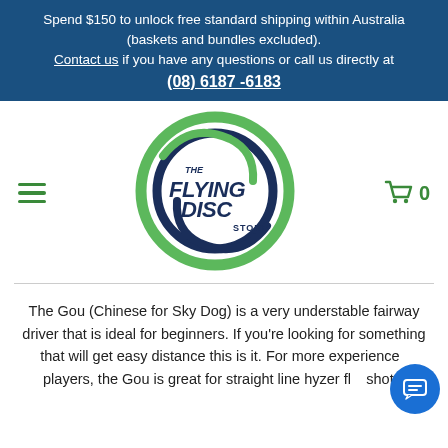Spend $150 to unlock free standard shipping within Australia (baskets and bundles excluded). Contact us if you have any questions or call us directly at (08) 6187 -6183
[Figure (logo): The Flying Disc Store logo — circular green and navy swirl with stylized graffiti text reading 'THE FLYING DISC STORE']
The Gou (Chinese for Sky Dog) is a very understable fairway driver that is ideal for beginners. If you're looking for something that will get easy distance this is it. For more experienced players, the Gou is great for straight line hyzer flip shots.